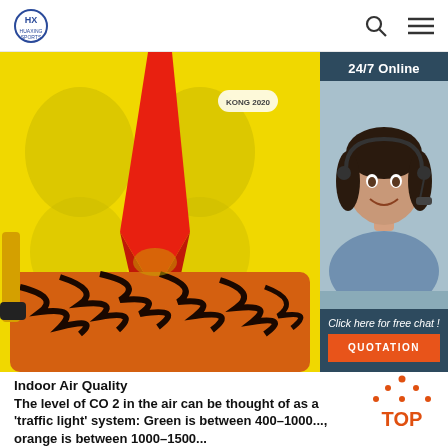HUAXING SPORTS
[Figure (photo): Yellow and orange tiger-themed children's backpack or flotation vest with red accent design, shown from front. Brand label visible on upper right of product.]
[Figure (photo): 24/7 Online chat widget with photo of smiling female customer service agent wearing headset, dark teal background, with 'Click here for free chat!' text and orange QUOTATION button.]
[Figure (illustration): Red TOP badge/icon with orange dots arranged in triangle above text]
Indoor Air Quality
The level of CO 2 in the air can be thought of as a 'traffic light' system: Green is between 400–1000..., orange is between 1000–1500...